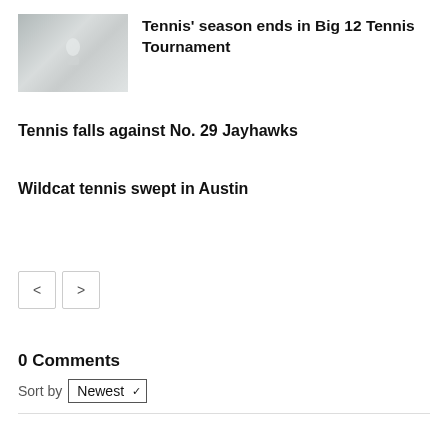[Figure (photo): Small thumbnail photo showing a tennis-related scene, blurry/gray tones]
Tennis’ season ends in Big 12 Tennis Tournament
Tennis falls against No. 29 Jayhawks
Wildcat tennis swept in Austin
< >
0 Comments
Sort by Newest